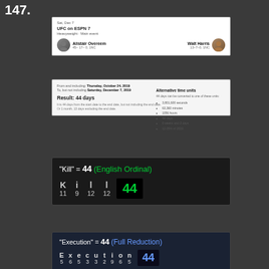147.
[Figure (screenshot): UFC on ESPN 7 event card showing Alistair Overeem (45-17-0, 1NC) vs Walt Harris (13-7-0, 1NC), Heavyweight Main Event, Sat, Dec 7]
[Figure (screenshot): Date calculator showing From Thursday October 24 2019 To Saturday December 7 2019, Result: 44 days. Alternative time units listed: 3,801,600 seconds, 63,300 minutes, 1056 hours, 44 days, 6 weeks and 2 days, 12.05% of 2019]
[Figure (infographic): Kill in English Ordinal cipher: K=11, i=9, l=12, l=12, total=44]
[Figure (infographic): Execution in Full Reduction cipher: E=5, x=6, e=5, c=3, u=3, t=2, i=9, o=6, n=5, total=44]